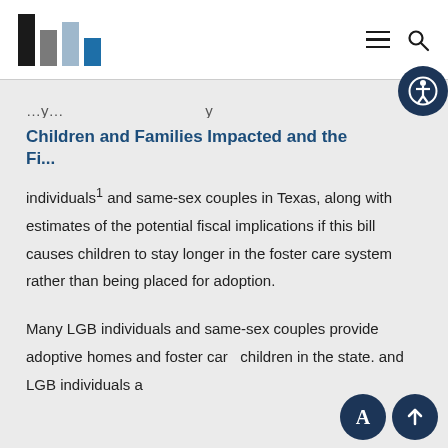[Logo] Children and Families Impacted - Urban Institute website header with hamburger menu and search icon
Children and Families Impacted and the Fi...
individuals¹ and same-sex couples in Texas, along with estimates of the potential fiscal implications if this bill causes children to stay longer in the foster care system rather than being placed for adoption.
Many LGB individuals and same-sex couples provide adoptive homes and foster care children in the state. and LGB individuals are